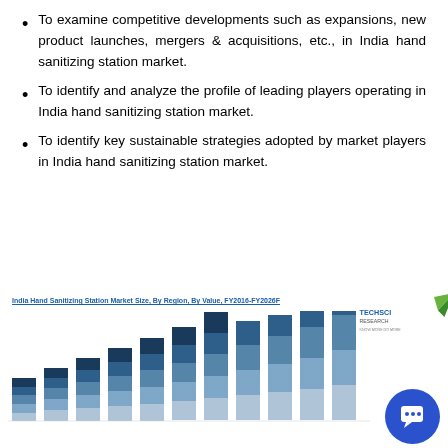To examine competitive developments such as expansions, new product launches, mergers & acquisitions, etc., in India hand sanitizing station market.
To identify and analyze the profile of leading players operating in India hand sanitizing station market.
To identify key sustainable strategies adopted by market players in India hand sanitizing station market.
[Figure (stacked-bar-chart): Stacked bar chart showing India Hand Sanitizing Station Market Size by Region by Value from FY2016 to FY2026F, with multiple colored segments per bar representing different regions, growing over time.]